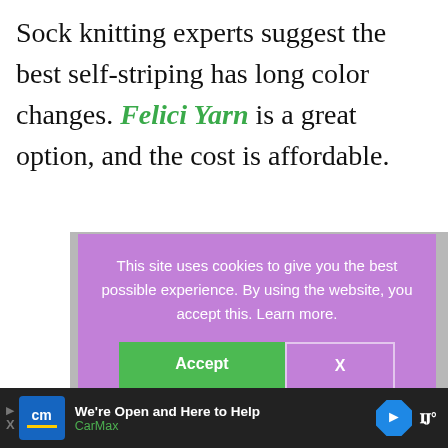Sock knitting experts suggest the best self-striping has long color changes. Felici Yarn is a great option, and the cost is affordable.
[Figure (screenshot): Cookie consent overlay on a webpage showing a purple modal with text 'This site uses cookies to give you the best possible experience. By using the website, you accept this. Learn more.' with Accept and X buttons, overlaying a photo of colorful self-striping knitted socks with knitting needles on a grey background. A CarMax advertisement bar appears at the bottom.]